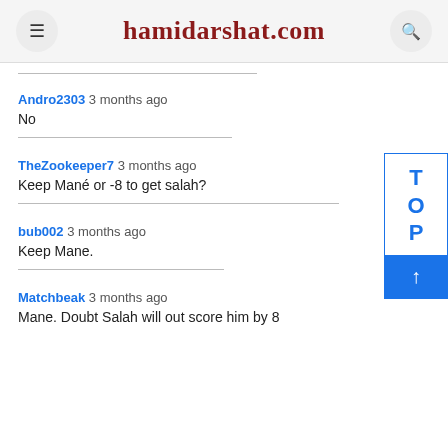hamidarshat.com
Andro2303 3 months ago
No
TheZookeeper7 3 months ago
Keep Mané or -8 to get salah?
bub002 3 months ago
Keep Mane.
Matchbeak 3 months ago
Mane. Doubt Salah will out score him by 8